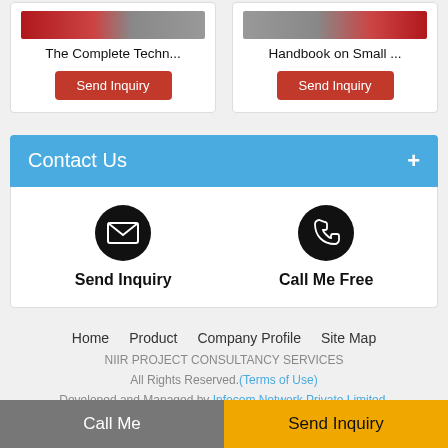[Figure (screenshot): Two product cards, each with a thumbnail image, title text and a red Send Inquiry button. Left card: 'The Complete Techn...', Right card: 'Handbook on Small ...']
The Complete Techn...
Send Inquiry
Handbook on Small ...
Send Inquiry
Contact Us +
[Figure (infographic): Two icons: envelope icon labeled 'Send Inquiry' and phone icon labeled 'Call Me Free']
Send Inquiry
Call Me Free
Home    Product    Company Profile    Site Map
NIIR PROJECT CONSULTANCY SERVICES
All Rights Reserved.(Terms of Use)
Developed and Managed by Infocom Network Private Limited.
Go to Desktop
Call Me    Send Inquiry